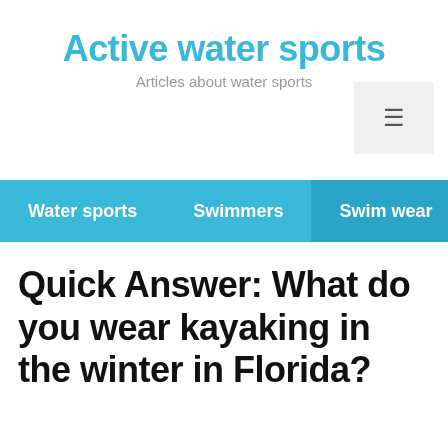Active water sports
Articles about water sports
Water sports   Swimmers   Swim wear
Quick Answer: What do you wear kayaking in the winter in Florida?